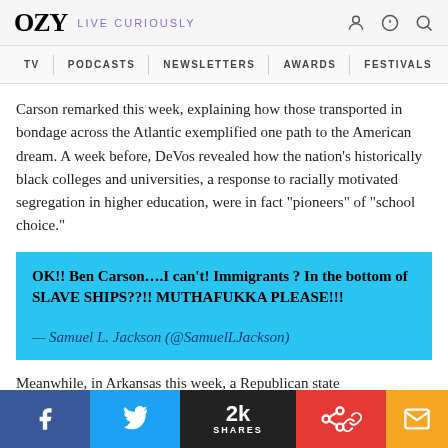OZY LIVE CURIOUSLY
TV / PODCASTS / NEWSLETTERS / AWARDS / FESTIVALS
Carson remarked this week, explaining how those transported in bondage across the Atlantic exemplified one path to the American dream. A week before, DeVos revealed how the nation’s historically black colleges and universities, a response to racially motivated segregation in higher education, were in fact “pioneers” of “school choice.”
OK!! Ben Carson….I can't! Immigrants ? In the bottom of SLAVE SHIPS??!! MUTHAFUKKA PLEASE!!!

— Samuel L. Jackson (@SamuelLJackson)
Meanwhile, in Arkansas this week, a Republican state